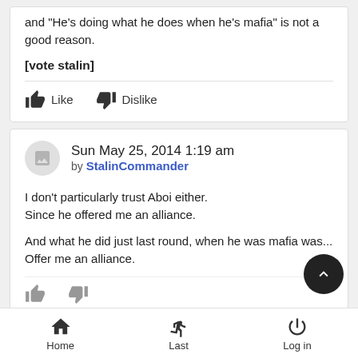and "He's doing what he does when he's mafia" is not a good reason.
[vote stalin]
Like   Dislike
Sun May 25, 2014 1:19 am by StalinCommander
I don't particularly trust Aboi either.
Since he offered me an alliance.

And what he did just last round, when he was mafia was...
Offer me an alliance.
Home   Last   Log in